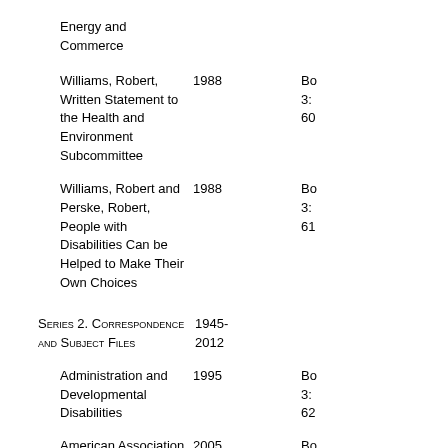Energy and Commerce
Williams, Robert, Written Statement to the Health and Environment Subcommittee	1988	Bo 3: 60
Williams, Robert and Perske, Robert, People with Disabilities Can be Helped to Make Their Own Choices	1988	Bo 3: 61
Series 2. Correspondence and Subject Files	1945-2012
Administration and Developmental Disabilities	1995	Bo 3: 62
American Association on Mental Retardation annual	2005	Bo 3: 63